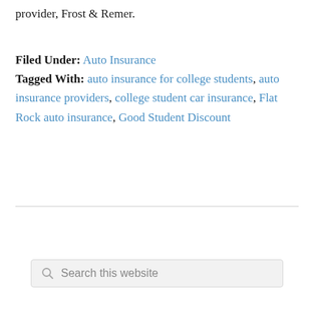provider, Frost & Remer.
Filed Under: Auto Insurance
Tagged With: auto insurance for college students, auto insurance providers, college student car insurance, Flat Rock auto insurance, Good Student Discount